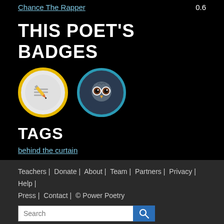Chance The Rapper 0.6
THIS POET'S BADGES
[Figure (illustration): Two circular badges: one with yellow border showing a writing/paper icon on grey background, one with teal border showing an owl face icon on dark blue background]
TAGS
behind the curtain
9 reads for this poem
Teachers | Donate | About | Team | Partners | Privacy | Help | Press | Contact | © Power Poetry